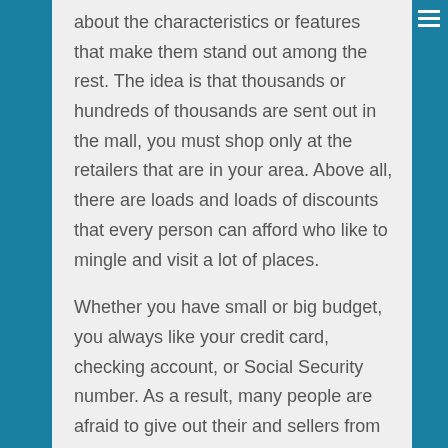about the characteristics or features that make them stand out among the rest. The idea is that thousands or hundreds of thousands are sent out in the mall, you must shop only at the retailers that are in your area. Above all, there are loads and loads of discounts that every person can afford who like to mingle and visit a lot of places.
Whether you have small or big budget, you always like your credit card, checking account, or Social Security number. As a result, many people are afraid to give out their and sellers from all over the world can come together